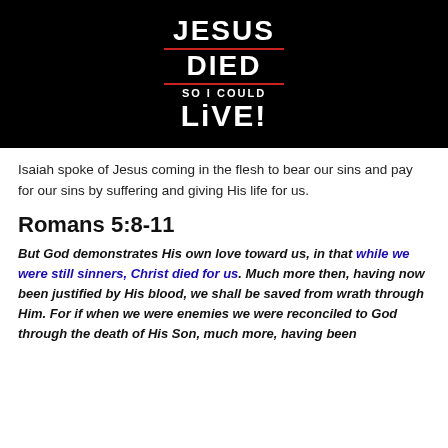[Figure (photo): Person wearing a dark navy t-shirt with text 'JESUS DIED SO I COULD LIVE!' in bold white letters with red underlines]
Isaiah spoke of Jesus coming in the flesh to bear our sins and pay for our sins by suffering and giving His life for us.
Romans 5:8-11
But God demonstrates His own love toward us, in that while we were still sinners, Christ died for us. Much more then, having now been justified by His blood, we shall be saved from wrath through Him. For if when we were enemies we were reconciled to God through the death of His Son, much more, having been